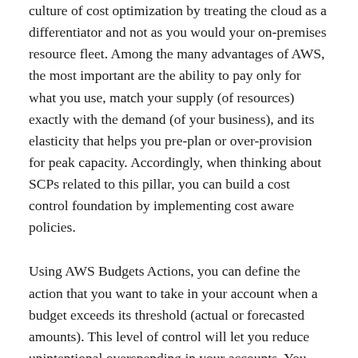culture of cost optimization by treating the cloud as a differentiator and not as you would your on-premises resource fleet. Among the many advantages of AWS, the most important are the ability to pay only for what you use, match your supply (of resources) exactly with the demand (of your business), and its elasticity that helps you pre-plan or over-provision for peak capacity. Accordingly, when thinking about SCPs related to this pillar, you can build a cost control foundation by implementing cost aware policies.
Using AWS Budgets Actions, you can define the action that you want to take in your account when a budget exceeds its threshold (actual or forecasted amounts). This level of control will let you reduce unintentional overspending in your accounts. You can attach the following SCP to your root OU which prevents member accounts from updating Budget actions.